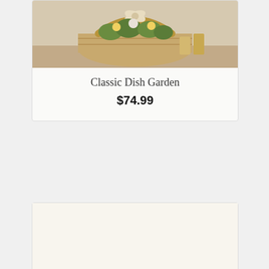[Figure (photo): Partially visible floral arrangement in a basket (Classic Dish Garden product image, cropped at top)]
Classic Dish Garden
$74.99
[Figure (photo): Floral arrangement of orange and yellow daisy flowers in an orange pumpkin-shaped vase with a raffia bow (Daisy Pumpkin Patch product image)]
Daisy Pumpkin Patch
$34.99